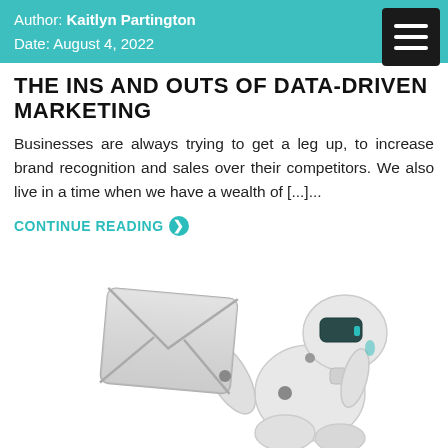Author: Kaitlyn Partington
Date: August 4, 2022
THE INS AND OUTS OF DATA-DRIVEN MARKETING
Businesses are always trying to get a leg up, to increase brand recognition and sales over their competitors. We also live in a time when we have a wealth of [...]...
CONTINUE READING ❯
[Figure (illustration): 3D rendered robot holding a silver envelope/email icon, crouching position, white and teal colors]